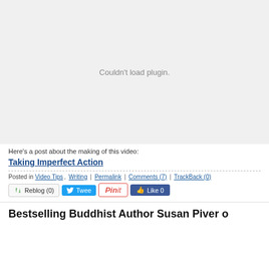[Figure (screenshot): Plugin placeholder area showing 'Couldn't load plugin.' message on light gray background]
Here's a post about the making of this video:
Taking Imperfect Action
Posted in Video Tips, Writing | Permalink | Comments (7) | TrackBack (0)
Reblog (0) Tweet Pin it Like 0
Bestselling Buddhist Author Susan Piver o...